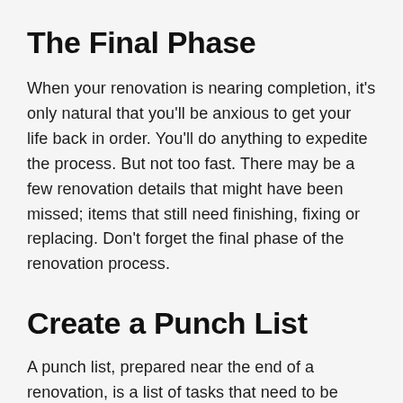The Final Phase
When your renovation is nearing completion, it's only natural that you'll be anxious to get your life back in order. You'll do anything to expedite the process. But not too fast. There may be a few renovation details that might have been missed; items that still need finishing, fixing or replacing. Don't forget the final phase of the renovation process.
Create a Punch List
A punch list, prepared near the end of a renovation, is a list of tasks that need to be completed before a renovation can be considered finished. Do a walk-through to ensure all of your expectations have been met. Identify remaining deficiencies and make a detailed list of necessary modifications. For instance, unfinished or